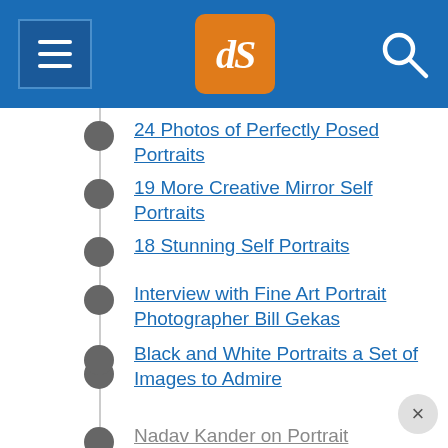[Figure (screenshot): Website header bar with hamburger menu icon on left, dPS logo in orange box in center, and search icon on right, all on blue background]
24 Photos of Perfectly Posed Portraits
19 More Creative Mirror Self Portraits
18 Stunning Self Portraits
Interview with Fine Art Portrait Photographer Bill Gekas
11 Influential Portrait Photographers you Need to Know
Black and White Portraits a Set of Images to Admire
Nadav Kander on Portrait Photography